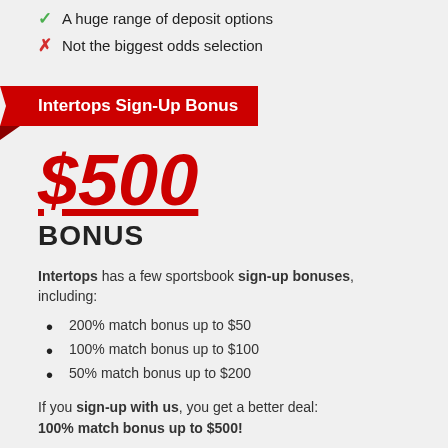A huge range of deposit options
Not the biggest odds selection
Intertops Sign-Up Bonus
$500
BONUS
Intertops has a few sportsbook sign-up bonuses, including:
200% match bonus up to $50
100% match bonus up to $100
50% match bonus up to $200
If you sign-up with us, you get a better deal: 100% match bonus up to $500!